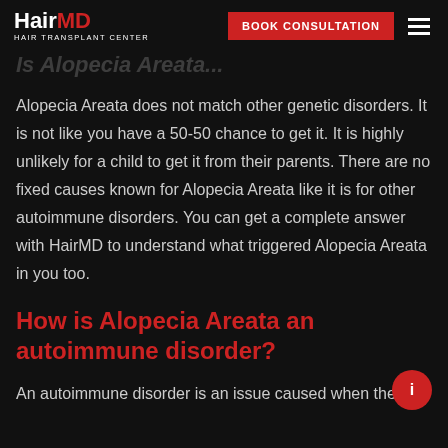HairMD HAIR TRANSPLANT CENTER | BOOK CONSULTATION
Is Alopecia Areata...
Alopecia Areata does not match other genetic disorders. It is not like you have a 50-50 chance to get it. It is highly unlikely for a child to get it from their parents. There are no fixed causes known for Alopecia Areata like it is for other autoimmune disorders. You can get a complete answer with HairMD to understand what triggered Alopecia Areata in you too.
How is Alopecia Areata an autoimmune disorder?
An autoimmune disorder is an issue caused when the